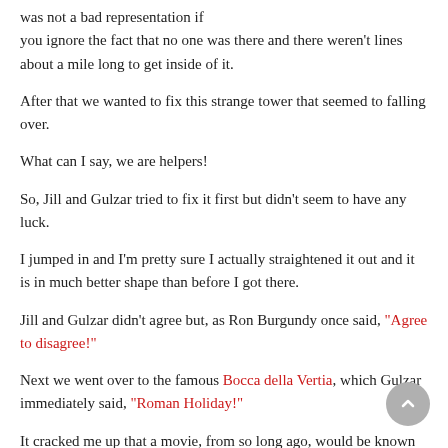was not a bad representation if you ignore the fact that no one was there and there weren't lines about a mile long to get inside of it.
After that we wanted to fix this strange tower that seemed to falling over.
What can I say, we are helpers!
So, Jill and Gulzar tried to fix it first but didn't seem to have any luck.
I jumped in and I'm pretty sure I actually straightened it out and it is in much better shape than before I got there.
Jill and Gulzar didn't agree but, as Ron Burgundy once said, "Agree to disagree!"
Next we went over to the famous Bocca della Vertia, which Gulzar immediately said, "Roman Holiday!"
It cracked me up that a movie, from so long ago, would be known and loved by someone from Xinjiang, who is Muslim, and has never been